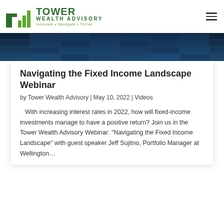[Figure (logo): Tower Wealth Advisory logo with green bar chart icon and text 'TOWER WEALTH ADVISORY — Innovate • Navigate • Thrive']
[Figure (photo): Hero image of glass office building facade, dark blue tones]
Navigating the Fixed Income Landscape Webinar
by Tower Wealth Advisory | May 10, 2022 | Videos
With increasing interest rates in 2022, how will fixed-income investments manage to have a positive return? Join us in the Tower Wealth Advisory Webinar: "Navigating the Fixed Income Landscape" with guest speaker Jeff Sujitno, Portfolio Manager at Wellington...